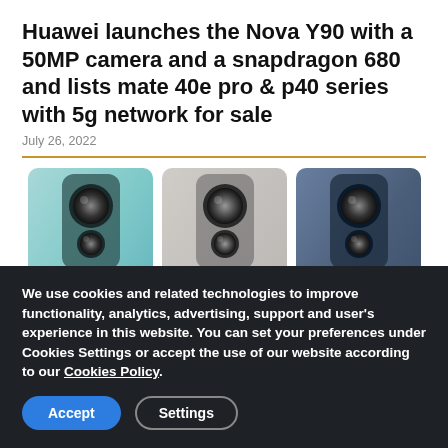Huawei launches the Nova Y90 with a 50MP camera and a snapdragon 680 and lists mate 40e pro & p40 series with 5g network for sale
July 26, 2022
[Figure (photo): Three Huawei Nova Y90 smartphones shown from the back, in blue/teal, silver/grey, and dark blue colorways, each showing triple camera setups.]
We use cookies and related technologies to improve functionality, analytics, advertising, support and user's experience in this website. You can set your preferences under Cookies Settings or accept the use of our website according to our Cookies Policy.